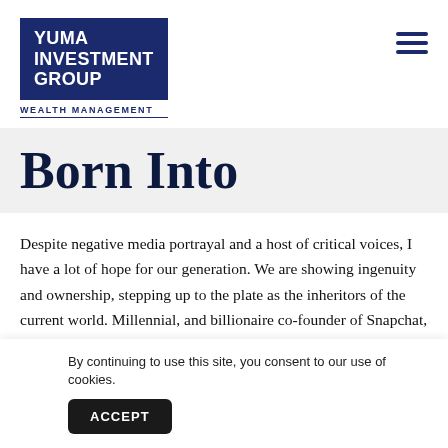YUMA INVESTMENT GROUP WEALTH MANAGEMENT
Born Into
Despite negative media portrayal and a host of critical voices, I have a lot of hope for our generation. We are showing ingenuity and ownership, stepping up to the plate as the inheritors of the current world. Millennial, and billionaire co-founder of Snapchat, Evan Spiegel
By continuing to use this site, you consent to our use of cookies.